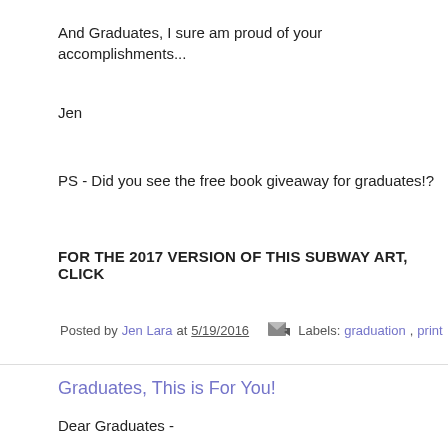And Graduates, I sure am proud of your accomplishments...
Jen
PS - Did you see the free book giveaway for graduates!?
FOR THE 2017 VERSION OF THIS SUBWAY ART, CLICK
Posted by Jen Lara at 5/19/2016   Labels: graduation, print
Graduates, This is For You!
Dear Graduates -
Jackie and I feel the same way......